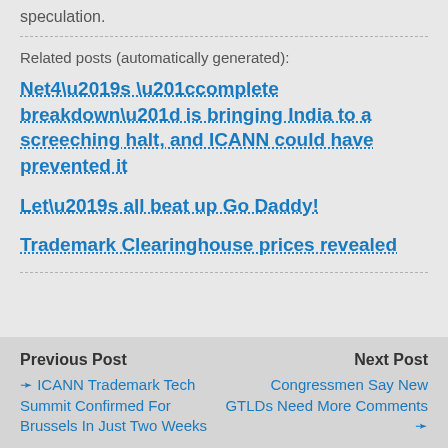speculation.
Related posts (automatically generated):
Net4’s “complete breakdown” is bringing India to a screeching halt, and ICANN could have prevented it
Let’s all beat up Go Daddy!
Trademark Clearinghouse prices revealed
Previous Post: ❬ ICANN Trademark Tech Summit Confirmed For Brussels In Just Two Weeks | Next Post: Congressmen Say New GTLDs Need More Comments ❭